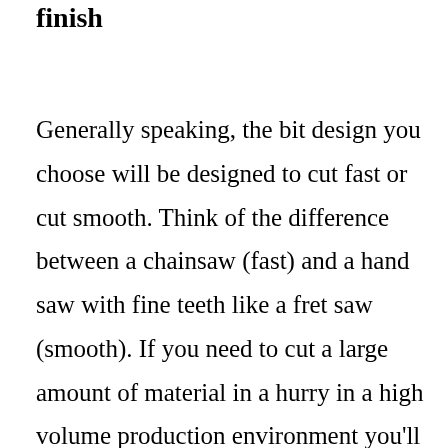finish
Generally speaking, the bit design you choose will be designed to cut fast or cut smooth. Think of the difference between a chainsaw (fast) and a hand saw with fine teeth like a fret saw (smooth). If you need to cut a large amount of material in a hurry in a high volume production environment you'll go for an aggressive bit that can be pushed through your material quickly. If you are making